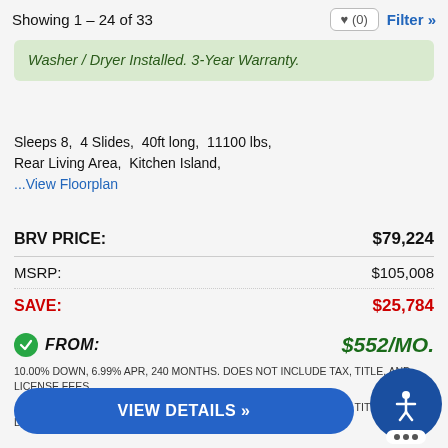Showing 1 – 24 of 33
Washer / Dryer Installed. 3-Year Warranty.
Sleeps 8, 4 Slides, 40ft long, 11100 lbs, Rear Living Area, Kitchen Island,
...View Floorplan
| Label | Value |
| --- | --- |
| BRV PRICE: | $79,224 |
| MSRP: | $105,008 |
| SAVE: | $25,784 |
FROM: $552/MO.
10.00% DOWN, 6.99% APR, 240 MONTHS. DOES NOT INCLUDE TAX, TITLE, AND LICENSE FEES
10.00% DOWN, 6.99% APR, 240 MONTHS. DOES NOT INCLUDE TAX, TITLE, AND LICENSE FEES
VIEW DETAILS »